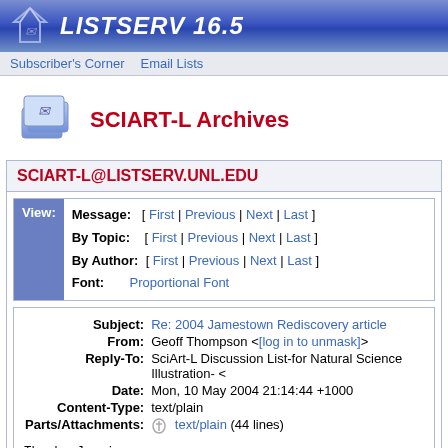LISTSERV 16.5
Subscriber's Corner  Email Lists
SCIART-L Archives
SCIART-L@LISTSERV.UNL.EDU
| Message: | [ First | Previous | Next | Last ] |
| By Topic: | [ First | Previous | Next | Last ] |
| By Author: | [ First | Previous | Next | Last ] |
| Font: | Proportional Font |
| Subject: | Re: 2004 Jamestown Rediscovery article |
| From: | Geoff Thompson <[log in to unmask]> |
| Reply-To: | SciArt-L Discussion List-for Natural Science Illustration- < |
| Date: | Mon, 10 May 2004 21:14:44 +1000 |
| Content-Type: | text/plain |
| Parts/Attachments: | text/plain (44 lines) |
Thanks Jaynie,
I really enjoyed that site,